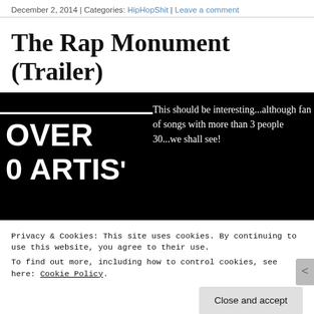December 2, 2014 | Categories: HipHopShit | Leave a comment
The Rap Monument (Trailer)
[Figure (screenshot): Black background image showing large white bold text reading 'OVER' and 'ARTIS' partially visible, with white text overlay reading 'This should be interesting...although fan of songs with more than 3 people 30...we shall see!']
Privacy & Cookies: This site uses cookies. By continuing to use this website, you agree to their use.
To find out more, including how to control cookies, see here: Cookie Policy
Close and accept